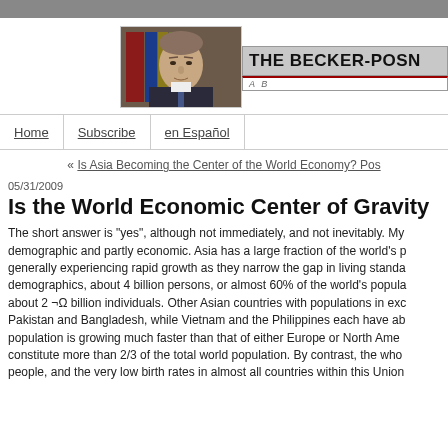[Figure (photo): Portrait photo of a man in a suit, with bookshelves in the background]
[Figure (logo): The Becker-Posner Blog logo with subtitle text 'A B...']
Home | Subscribe | en Español
« Is Asia Becoming the Center of the World Economy? Pos...
05/31/2009
Is the World Economic Center of Gravity
The short answer is "yes", although not immediately, and not inevitably. My... demographic and partly economic. Asia has a large fraction of the world's p... generally experiencing rapid growth as they narrow the gap in living standa... demographics, about 4 billion persons, or almost 60% of the world's popula... about 2 ¬Ω billion individuals. Other Asian countries with populations in ex... Pakistan and Bangladesh, while Vietnam and the Philippines each have ab... population is growing much faster than that of either Europe or North Ame... constitute more than 2/3 of the total world population. By contrast, the wh... people, and the very low birth rates in almost all countries within this Unio...